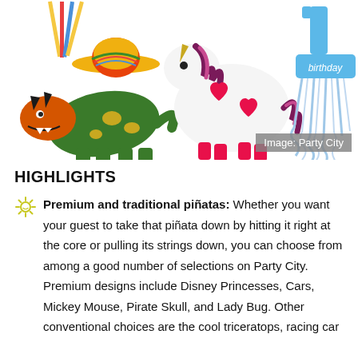[Figure (photo): Collage of party piñatas from Party City including dinosaur piñatas, a unicorn piñata, a sombrero, colorful sticks, and a '1st birthday' pull-string piñata with blue streamers. Watermark reads 'Image: Party City'.]
HIGHLIGHTS
Premium and traditional piñatas: Whether you want your guest to take that piñata down by hitting it right at the core or pulling its strings down, you can choose from among a good number of selections on Party City. Premium designs include Disney Princesses, Cars, Mickey Mouse, Pirate Skull, and Lady Bug. Other conventional choices are the cool triceratops, racing car